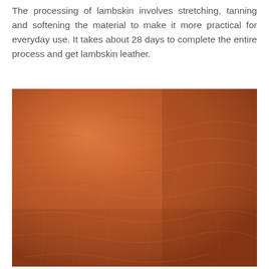The processing of lambskin involves stretching, tanning and softening the material to make it more practical for everyday use. It takes about 28 days to complete the entire process and get lambskin leather.
[Figure (photo): Close-up photograph of lambskin leather texture showing orange-brown tanned leather surface with natural grain lines, wrinkles and crease patterns typical of processed lambskin.]